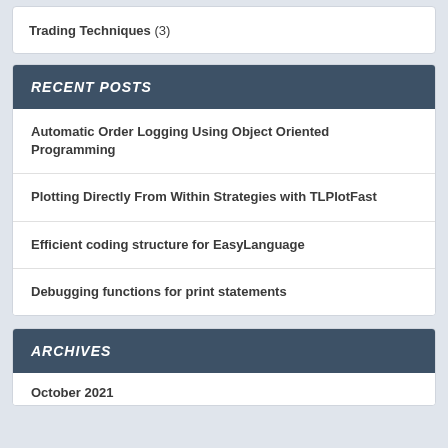Trading Techniques (3)
RECENT POSTS
Automatic Order Logging Using Object Oriented Programming
Plotting Directly From Within Strategies with TLPlotFast
Efficient coding structure for EasyLanguage
Debugging functions for print statements
ARCHIVES
October 2021